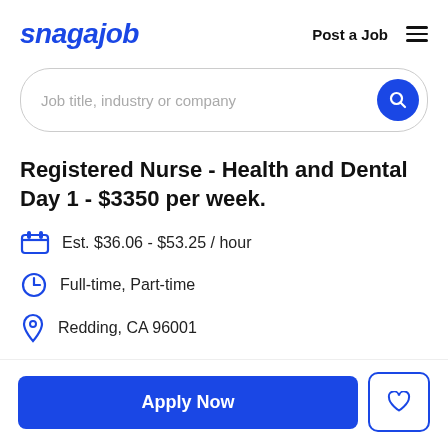snagajob  Post a Job  ≡
Job title, industry or company
Registered Nurse - Health and Dental Day 1 - $3350 per week.
Est. $36.06 - $53.25 / hour
Full-time, Part-time
Redding, CA 96001
Apply Now